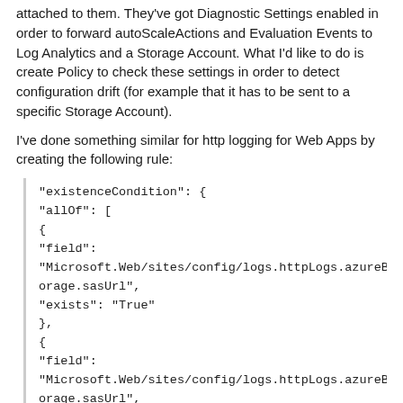attached to them. They've got Diagnostic Settings enabled in order to forward autoScaleActions and Evaluation Events to Log Analytics and a Storage Account. What I'd like to do is create Policy to check these settings in order to detect configuration drift (for example that it has to be sent to a specific Storage Account).
I've done something similar for http logging for Web Apps by creating the following rule:
"existenceCondition": {
"allOf": [
{
"field":
"Microsoft.Web/sites/config/logs.httpLogs.azureBlobStorage.sasUrl",
"exists": "True"
},
{
"field":
"Microsoft.Web/sites/config/logs.httpLogs.azureBlobStorage.sasUrl",
"like": "[concat(parameters('StorageAccountURL'),'*')]"
}